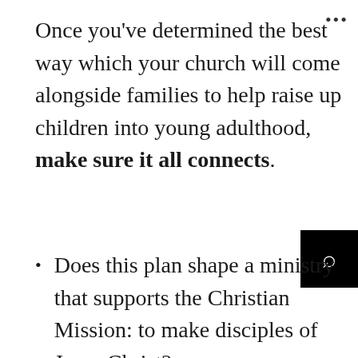Once you've determined the best way which your church will come alongside families to help raise up children into young adulthood, make sure it all connects.
Does this plan shape a ministry that supports the Christian Mission: to make disciples of Jesus Christ?
Do the experiences and truths align with the core values of your church?
Are there clear bridges of transition